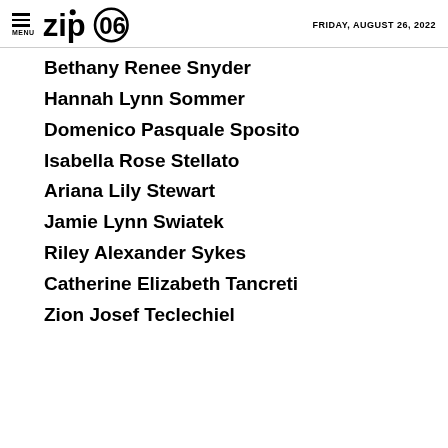MENU | zip06 | FRIDAY, AUGUST 26, 2022
Bethany Renee Snyder
Hannah Lynn Sommer
Domenico Pasquale Sposito
Isabella Rose Stellato
Ariana Lily Stewart
Jamie Lynn Swiatek
Riley Alexander Sykes
Catherine Elizabeth Tancreti
Zion Josef Teclechiel